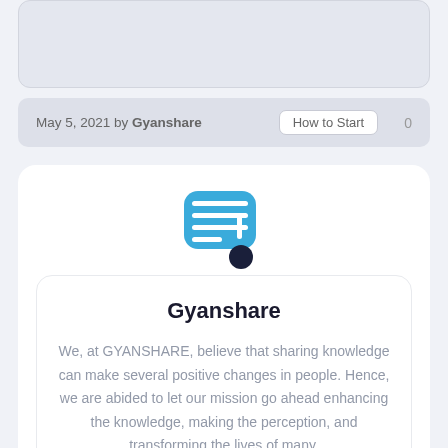[Figure (other): Top card placeholder (cropped content from above)]
May 5, 2021 by Gyanshare   How to Start   0
[Figure (logo): Gyanshare logo: blue rounded rectangle with Hindi text Gyan and dark navy dot]
Gyanshare
We, at GYANSHARE, believe that sharing knowledge can make several positive changes in people. Hence, we are abided to let our mission go ahead enhancing the knowledge, making the perception, and transforming the lives of many.